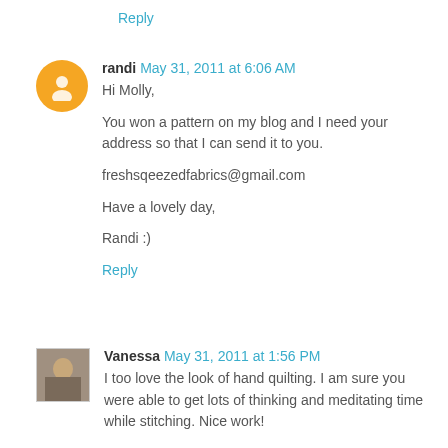Reply
randi May 31, 2011 at 6:06 AM
Hi Molly,

You won a pattern on my blog and I need your address so that I can send it to you.

freshsqeezedfabrics@gmail.com

Have a lovely day,

Randi :)
Reply
Vanessa May 31, 2011 at 1:56 PM
I too love the look of hand quilting. I am sure you were able to get lots of thinking and meditating time while stitching. Nice work!